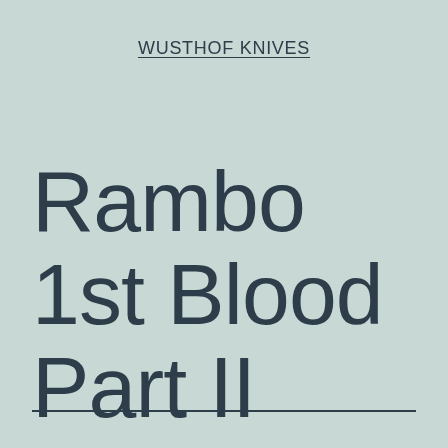WUSTHOF KNIVES
Rambo 1st Blood Part II Knife Review